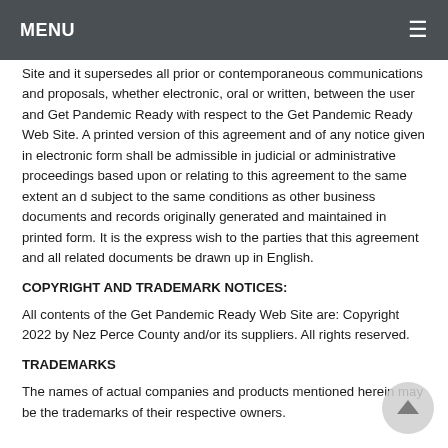MENU
Site and it supersedes all prior or contemporaneous communications and proposals, whether electronic, oral or written, between the user and Get Pandemic Ready with respect to the Get Pandemic Ready Web Site. A printed version of this agreement and of any notice given in electronic form shall be admissible in judicial or administrative proceedings based upon or relating to this agreement to the same extent an d subject to the same conditions as other business documents and records originally generated and maintained in printed form. It is the express wish to the parties that this agreement and all related documents be drawn up in English.
COPYRIGHT AND TRADEMARK NOTICES:
All contents of the Get Pandemic Ready Web Site are: Copyright 2022 by Nez Perce County and/or its suppliers. All rights reserved.
TRADEMARKS
The names of actual companies and products mentioned herein may be the trademarks of their respective owners.